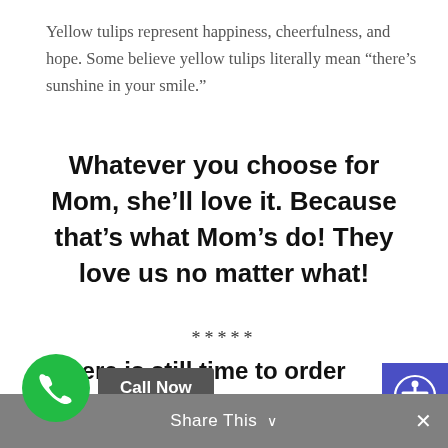Yellow tulips represent happiness, cheerfulness, and hope. Some believe yellow tulips literally mean “there’s sunshine in your smile.”
Whatever you choose for Mom, she’ll love it. Because that’s what Mom’s do! They love us no matter what!
*****
There is still time to order your Mother’s Day arrangements. Don’t delay, though, time is quickly running out!
SuEllen’s Floral Company can create a beautiful arrangement to suit your purposes for any occasion and in any price range.
Share This ∨   ×